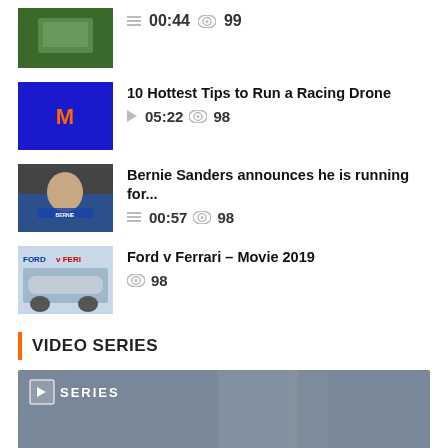00:44  99
10 Hottest Tips to Run a Racing Drone — 05:22  98
Bernie Sanders announces he is running for...  — 00:57  98
Ford v Ferrari – Movie 2019 — 98
VIDEO SERIES
[Figure (screenshot): Video series card showing 'THIS IS OURS' text with a SERIES badge overlay]